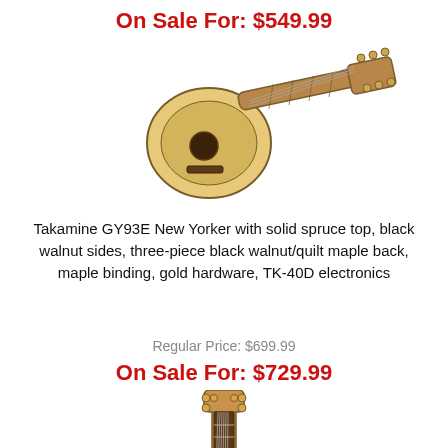On Sale For: $549.99
[Figure (photo): Acoustic guitar (parlor style) shown at an angle, natural spruce top finish]
Takamine GY93E New Yorker with solid spruce top, black walnut sides, three-piece black walnut/quilt maple back, maple binding, gold hardware, TK-40D electronics
Regular Price: $699.99
On Sale For: $729.99
[Figure (photo): Acoustic-electric guitar (dreadnought cutaway style) shown front-facing, warm natural finish]